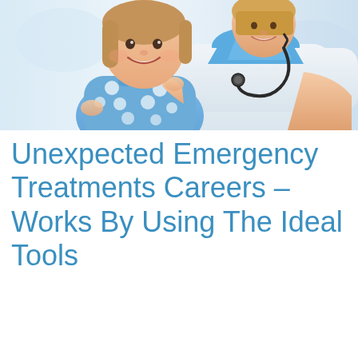[Figure (photo): A smiling young girl in a blue polka-dot dress holding a stethoscope, standing in front of a female doctor in a white coat and blue scrubs who is embracing her from behind. Both are smiling, set against a bright clinical background.]
Unexpected Emergency Treatments Careers – Works By Using The Ideal Tools